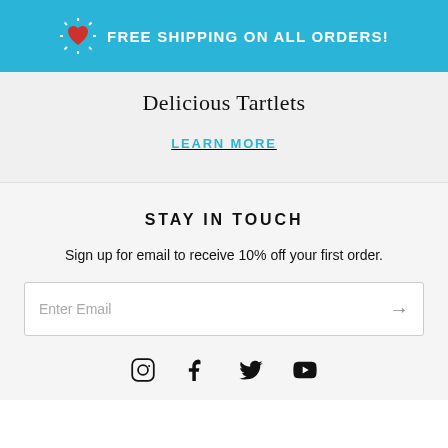FREE SHIPPING ON ALL ORDERS!
Delicious Tartlets
LEARN MORE
STAY IN TOUCH
Sign up for email to receive 10% off your first order.
Enter Email
[Figure (other): Social media icons: Instagram, Facebook, Twitter, YouTube]